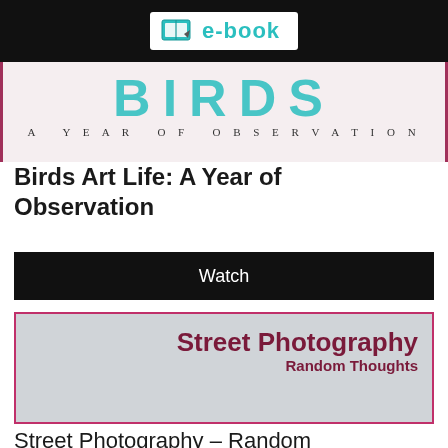[Figure (logo): e-book logo with teal book icon and 'e-book' text in teal on white background inside a black bar]
[Figure (illustration): Partial book cover for 'Birds Art Life: A Year of Observation' showing large teal BIRDS letters and subtitle text on pink background with maroon borders]
Birds Art Life: A Year of Observation
Watch
[Figure (illustration): Book cover for 'Street Photography – Random Thoughts' with bold dark maroon title and subtitle right-aligned on gray/blue background within a pink border]
Street Photography – Random Thoughts